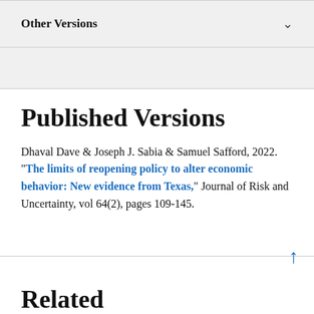Other Versions
Published Versions
Dhaval Dave & Joseph J. Sabia & Samuel Safford, 2022. "The limits of reopening policy to alter economic behavior: New evidence from Texas," Journal of Risk and Uncertainty, vol 64(2), pages 109-145.
Related